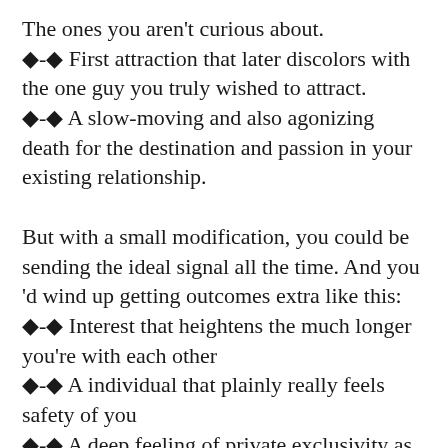The ones you aren't curious about. ❖-❖ First attraction that later discolors with the one guy you truly wished to attract. ❖-❖ A slow-moving and also agonizing death for the destination and passion in your existing relationship.

But with a small modification, you could be sending the ideal signal all the time. And you 'd wind up getting outcomes extra like this: ❖-❖ Interest that heightens the much longer you're with each other ❖-❖ A individual that plainly really feels safety of you ❖-❖ A deep feeling of private exclusivity as he allows you into his internal globe

The distinction can be remarkable. And it all